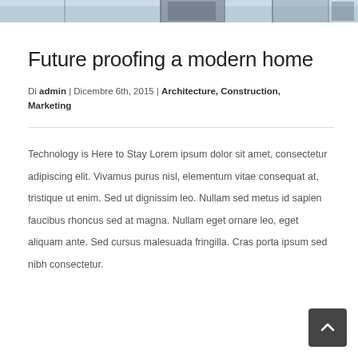[Figure (photo): Partial view of a construction or industrial structure against a sky background, shown as a banner/header image strip]
Future proofing a modern home
Di admin | Dicembre 6th, 2015 | Architecture, Construction, Marketing
Technology is Here to Stay Lorem ipsum dolor sit amet, consectetur adipiscing elit. Vivamus purus nisl, elementum vitae consequat at, tristique ut enim. Sed ut dignissim leo. Nullam sed metus id sapien faucibus rhoncus sed at magna. Nullam eget ornare leo, eget aliquam ante. Sed cursus malesuada fringilla. Cras porta ipsum sed nibh consectetur.